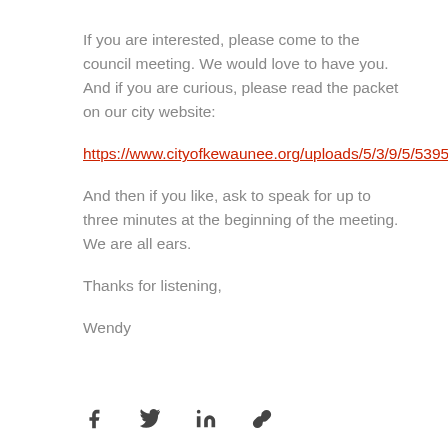If you are interested, please come to the council meeting. We would love to have you.  And if you are curious, please read the packet on our city website:
https://www.cityofkewaunee.org/uploads/5/3/9/5/53954613/packet.pdf
And then if you like, ask to speak for up to three minutes at the beginning of the meeting.  We are all ears.
Thanks for listening,
Wendy
[Figure (other): Social media sharing icons: Facebook, Twitter, LinkedIn, and a link/chain icon]